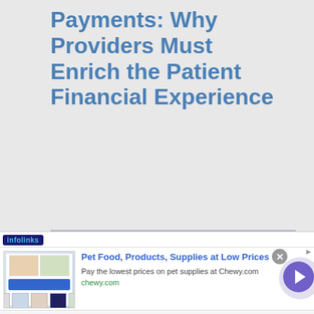Payments: Why Providers Must Enrich the Patient Financial Experience
[Figure (screenshot): Advertisement banner: Pet Food, Products, Supplies at Low Prices - Chewy.com, with product thumbnail images and navigation arrow]